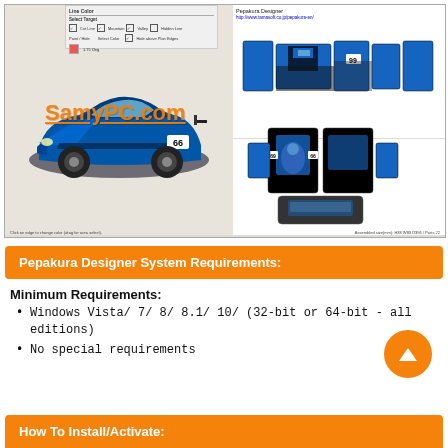[Figure (screenshot): Screenshot of Pepakura Designer software showing a 3D blue racing car (number 66) in the left panel with toolbar at top, and unfolded paper model parts layout in the right panel. Orange watermark 'SamyPC.com' overlaid on the left panel. Status bar text at bottom: 'Click an edge to change color (drag for area select).' and 'Assembled size(mm): H38 W83 D396 / Parts 22']
Pepakura Designer System Requirements:
Minimum Requirements:
Windows Vista/ 7/ 8/ 8.1/ 10/ (32-bit or 64-bit - all editions)
No special requirements
How To Install/Activate: